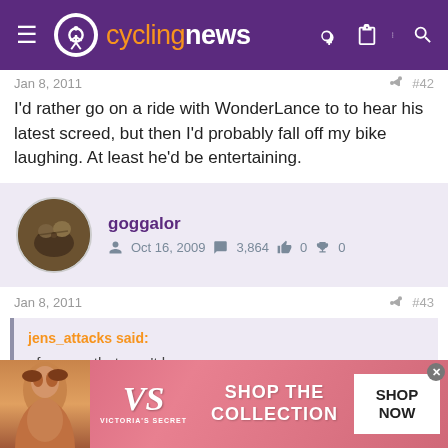cyclingnews
Jan 8, 2011   #42
I'd rather go on a ride with WonderLance to to hear his latest screed, but then I'd probably fall off my bike laughing. At least he'd be entertaining.
goggalor  Oct 16, 2009  3,864  0  0
Jan 8, 2011   #43
jens_attacks said:

of course that won't happen.
[Figure (photo): Victoria's Secret advertisement banner with model, VS logo, 'SHOP THE COLLECTION' text and SHOP NOW button]